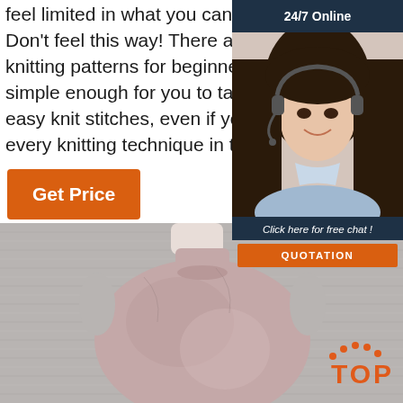feel limited in what you can accomplish. Don't feel this way! There are plenty of free knitting patterns for beginners that are simple enough for you to tackle and feature easy knit stitches, even if you don't know every knitting technique in the book.
[Figure (infographic): 24/7 Online chat widget with a smiling woman wearing a headset, dark navy background header reading '24/7 Online', italic text 'Click here for free chat!', and an orange button labeled 'QUOTATION']
Get Price
[Figure (photo): A sleeveless dusty pink/mauve knit or velvet garment displayed on a white mannequin torso, set against a light grey textured background. An orange 'TOP' logo with dots appears in the bottom right.]